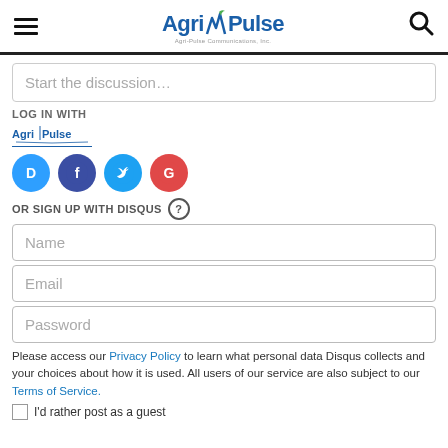AgriPulse
Start the discussion…
LOG IN WITH
[Figure (logo): AgriPulse small logo with underline link]
[Figure (infographic): Social login icons: Disqus (D blue), Facebook (f dark blue), Twitter (bird light blue), Google (G red)]
OR SIGN UP WITH DISQUS ?
Name
Email
Password
Please access our Privacy Policy to learn what personal data Disqus collects and your choices about how it is used. All users of our service are also subject to our Terms of Service.
I'd rather post as a guest